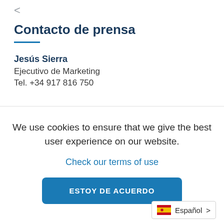<
Contacto de prensa
Jesús Sierra
Ejecutivo de Marketing
Tel. +34 917 816 750
We use cookies to ensure that we give the best user experience on our website.
Check our terms of use
ESTOY DE ACUERDO
Español